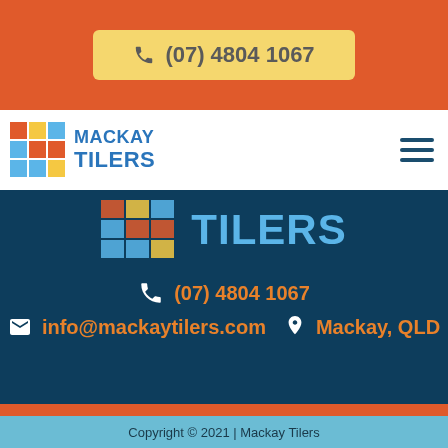(07) 4804 1067
[Figure (logo): Mackay Tilers logo with colorful tile grid and blue text]
[Figure (logo): Large Mackay Tilers logo on dark blue background]
(07) 4804 1067
info@mackaytilers.com  Mackay, QLD
Copyright © 2021 | Mackay Tilers